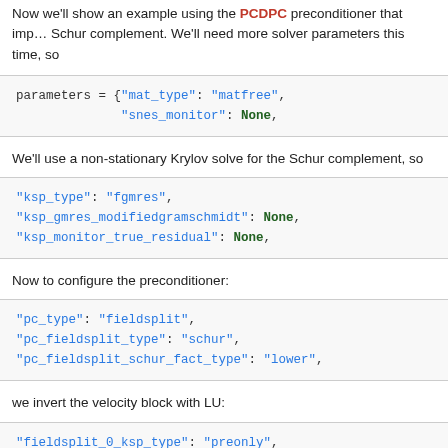Now we'll show an example using the PCDPC preconditioner that implements the Schur complement. We'll need more solver parameters this time, so
parameters = {"mat_type": "matfree",
              "snes_monitor": None,
We'll use a non-stationary Krylov solve for the Schur complement, so
"ksp_type": "fgmres",
"ksp_gmres_modifiedgramschmidt": None,
"ksp_monitor_true_residual": None,
Now to configure the preconditioner:
"pc_type": "fieldsplit",
"pc_fieldsplit_type": "schur",
"pc_fieldsplit_schur_fact_type": "lower",
we invert the velocity block with LU:
"fieldsplit_0_ksp_type": "preonly",
"fieldsplit_0_pc_type": "python",